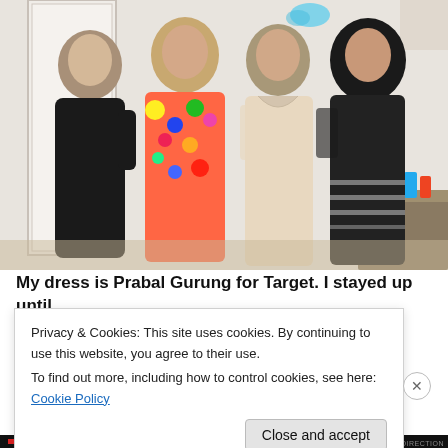[Figure (photo): A group photo of four smiling women posing together indoors at what appears to be a party or gathering. One woman wears a floral colorful dress, another a light beige/cream dress, one in black, and one in a black and white patterned outfit. There is a table with drinks visible in the background on the right side, and a door on the left.]
My dress is Prabal Gurung for Target. I stayed up until
Privacy & Cookies: This site uses cookies. By continuing to use this website, you agree to their use.
To find out more, including how to control cookies, see here: Cookie Policy
Close and accept